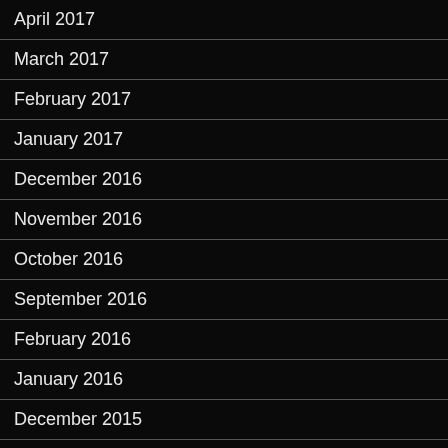April 2017
March 2017
February 2017
January 2017
December 2016
November 2016
October 2016
September 2016
February 2016
January 2016
December 2015
November 2015
October 2015